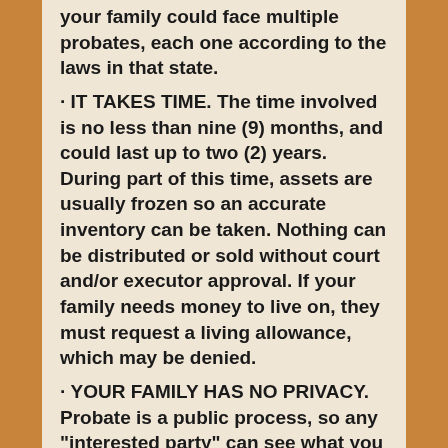your family could face multiple probates, each one according to the laws in that state.
· IT TAKES TIME. The time involved is no less than nine (9) months, and could last up to two (2) years. During part of this time, assets are usually frozen so an accurate inventory can be taken. Nothing can be distributed or sold without court and/or executor approval. If your family needs money to live on, they must request a living allowance, which may be denied.
· YOUR FAMILY HAS NO PRIVACY. Probate is a public process, so any "interested party" can see what you owned and who